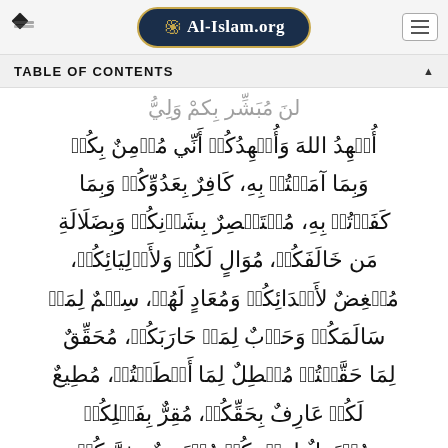Al-Islam.org
TABLE OF CONTENTS
أُشْهِدُ اللهَ وَأُشْهِدُكُمْ أَنِّي مُؤْمِنٌ بِكُمْ وَبِمَا آمَنْتُمْ بِهِ، كَافِرٌ بِعَدُوِّكُمْ وَبِمَا كَفَرْتُمْ بِهِ، مُسْتَبْصِرٌ بِشَأْنِكُمْ وَبِضَلاَلَةِ مَن خَالَفَكُمْ، مُوَالٍ لَكُمْ وَلأَوْلِيَائِكُمْ، مُبْغِضٌ لأَعْدَائِكُمْ وَمُعَادٍ لَهُمْ، سِلْمٌ لِمَنْ سَالَمَكُمْ وَحَرْبٌ لِمَنْ حَارَبَكُمْ، مُحَقِّقٌ لِمَا حَقَّقْتُمْ مُبْطِلٌ لِمَا أَبْطَلْتُمْ، مُطِيعٌ لَكُمْ عَارِفٌ بِحَقِّكُمْ، مُقِرٌّ بِفَضْلِكُمْ مُحْتَمِلٌ لِعِلْمِكُمْ مُحْتَجِبٌ بِذِمَّتِكُمْ مُعْتَرِفٌ بِكُمْ مُؤْمِنٌ بِإِيَابِكُمْ مُصَدِّقٌ